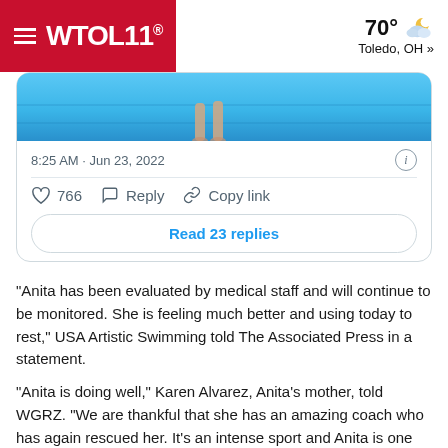WTOL 11. | 70° Toledo, OH »
[Figure (screenshot): Tweet card showing a swimming pool image with legs visible underwater, timestamp 8:25 AM · Jun 23, 2022, 766 likes, Reply and Copy link actions, and a Read 23 replies button]
“Anita has been evaluated by medical staff and will continue to be monitored. She is feeling much better and using today to rest,” USA Artistic Swimming told The Associated Press in a statement.
"Anita is doing well," Karen Alvarez, Anita's mother, told WGRZ. "We are thankful that she has an amazing coach who has again rescued her. It's an intense sport and Anita is one who always pushes herself to the limit. Unfortunately when